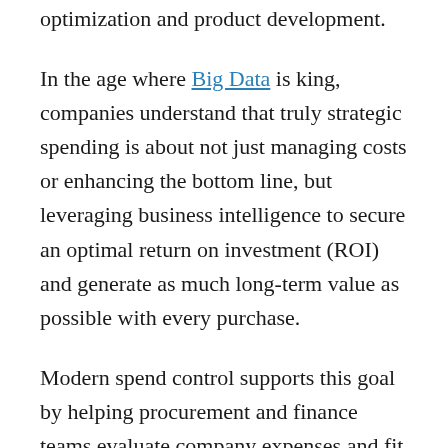optimization and product development.
In the age where Big Data is king, companies understand that truly strategic spending is about not just managing costs or enhancing the bottom line, but leveraging business intelligence to secure an optimal return on investment (ROI) and generate as much long-term value as possible with every purchase.
Modern spend control supports this goal by helping procurement and finance teams evaluate company expenses and fit them into forecasts and budgets as effectively as possible. Through the use of digital technologies such as